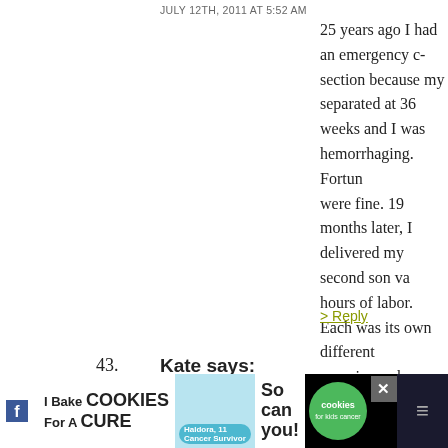JULY 12TH, 2011 AT 5:52 AM
25 years ago I had an emergency c-section because my separated at 36 weeks and I was hemorrhaging. Fortun were fine. 19 months later, I delivered my second son va hours of labor. Each was its own different experience, b wonderful because I had healthy babies. I was glad to "e but would have been totally fine if at any time my docto we need to do another c-section. They had tons of mon throughout the labor to make sure neither of us were a Anyone who criticizes HOW a baby gets born is just an
> Reply
43. Kate says:
JULY 12TH, 2011 AT 5:54 AM
I had a vaginal birth and considered needing forceps a f afterwards. I dont even know why, like hell is having for think we put alot of pressure on ourselves and the ONL during labour is healthy baby and mummy.
[Figure (screenshot): Advertisement banner: I Bake COOKIES For A CURE with photo of girl and cookies for kids cancer badge]